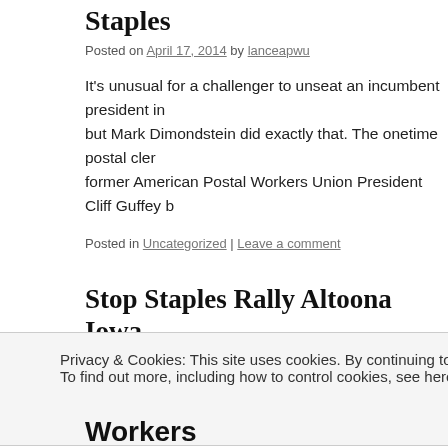Staples
Posted on April 17, 2014 by lanceapwu
It’s unusual for a challenger to unseat an incumbent president in a union, but Mark Dimondstein did exactly that. The onetime postal clerk beat former American Postal Workers Union President Cliff Guffey b
Posted in Uncategorized | Leave a comment
Stop Staples Rally Altoona Iowa
Posted on April 16, 2014 by lanceapwu
Stop Staples Rally Des Moines Iowa 8http://youtu.be/rZzIYYn5
Privacy & Cookies: This site uses cookies. By continuing to use this website, you agree to their use.
To find out more, including how to control cookies, see here: Cookie Policy
Workers